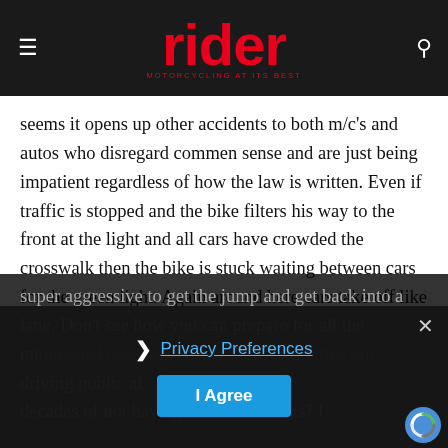rider — MOTORCYCLING AT ITS BEST
seems it opens up other accidents to both m/c's and autos who disregard commen sense and are just being impatient regardless of how the law is written. Even if traffic is stopped and the bike filters his way to the front at the light and all cars have crowded the crosswalk then the bike is stuck waiting between cars for the green light. Again around here cars take off like their at a drag strip. You have got to be super aggressive to get the jump and get back into a lane. Don't see how you can prepare for all the unintended consequences. Bikers figure this out but driving public af decades of not having to deal with this? I
Privacy Preferences
I Agree